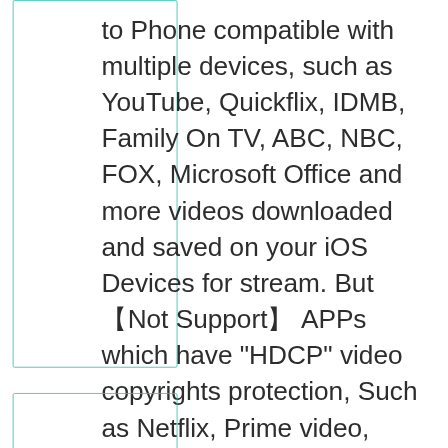to Phone compatible with multiple devices, such as YouTube, Quickflix, IDMB, Family On TV, ABC, NBC, FOX, Microsoft Office and more videos downloaded and saved on your iOS Devices for stream. But【Not Support】APPs which have "HDCP" video copyrights protection, Such as Netflix, Prime video, Amazon video, HBO go, HULU.